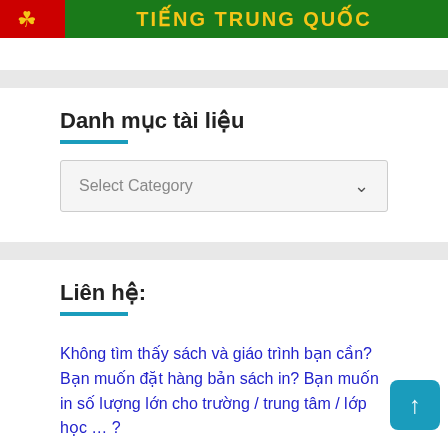[Figure (logo): Green banner header with red accent on left, ornamental cloud motif, and gold text reading TIENG TRUNG QUOC]
Danh mục tài liệu
[Figure (screenshot): Select Category dropdown box]
Liên hệ:
Không tìm thấy sách và giáo trình bạn cần? Bạn muốn đặt hàng bản sách in? Bạn muốn in số lượng lớn cho trường / trung tâm / lớp học … ?